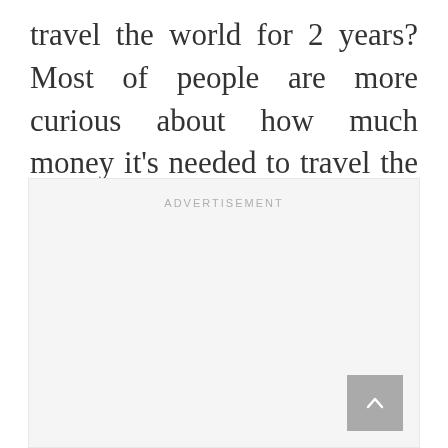travel the world for 2 years? Most of people are more curious about how much money it's needed to travel the world, than actually how to do it. But actually, one thing depends on the other. If you don't plan your trip around the world wisely, you won't be able to predict how much it will cost. So the first tip is: when it comes to money, you must keep control of everything.
[Figure (other): Advertisement placeholder box with 'ADVERTISEMENT' label text and a scroll-to-top button in the bottom right corner]